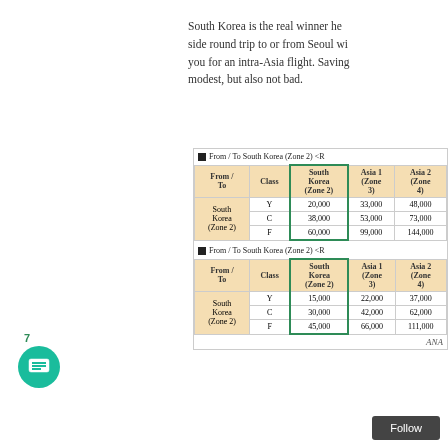South Korea is the real winner he side round trip to or from Seoul wi you for an intra-Asia flight. Saving modest, but also not bad.
| From / To | Class | South Korea (Zone 2) | Asia 1 (Zone 3) | Asia 2 (Zone 4) |
| --- | --- | --- | --- | --- |
| South Korea (Zone 2) | Y | 20,000 | 33,000 | 48,000 |
| South Korea (Zone 2) | C | 38,000 | 53,000 | 73,000 |
| South Korea (Zone 2) | F | 60,000 | 99,000 | 144,000 |
| From / To | Class | South Korea (Zone 2) | Asia 1 (Zone 3) | Asia 2 (Zone 4) |
| --- | --- | --- | --- | --- |
| South Korea (Zone 2) | Y | 15,000 | 22,000 | 37,000 |
| South Korea (Zone 2) | C | 30,000 | 42,000 | 62,000 |
| South Korea (Zone 2) | F | 45,000 | 66,000 | 111,000 |
ANA